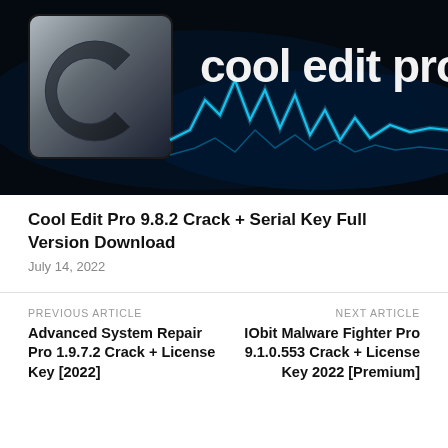[Figure (screenshot): Cool Edit Pro software banner with logo on dark background and glowing blue waveform, text reads 'cool edit pro']
Cool Edit Pro 9.8.2 Crack + Serial Key Full Version Download
July 14, 2022
PREVIOUS ARTICLE
Advanced System Repair Pro 1.9.7.2 Crack + License Key [2022]
NEXT ARTICLE
IObit Malware Fighter Pro 9.1.0.553 Crack + License Key 2022 [Premium]